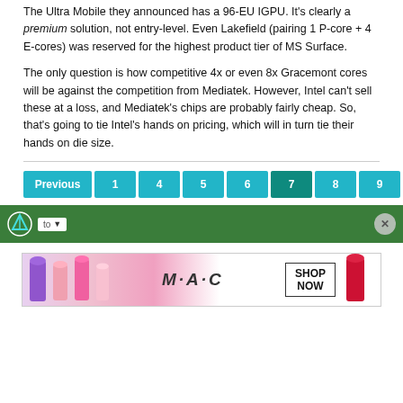The Ultra Mobile they announced has a 96-EU IGPU. It's clearly a premium solution, not entry-level. Even Lakefield (pairing 1 P-core + 4 E-cores) was reserved for the highest product tier of MS Surface.
The only question is how competitive 4x or even 8x Gracemont cores will be against the competition from Mediatek. However, Intel can't sell these at a loss, and Mediatek's chips are probably fairly cheap. So, that's going to tie Intel's hands on pricing, which will in turn tie their hands on die size.
[Figure (other): Pagination navigation bar with Previous, 1, 4, 5, 6, 7 (active/highlighted), 8, 9, Next buttons in teal/green color]
[Figure (other): Green advertisement bar with a logo icon, dropdown selector, and close button]
[Figure (other): MAC cosmetics advertisement banner showing lipsticks with SHOP NOW box]